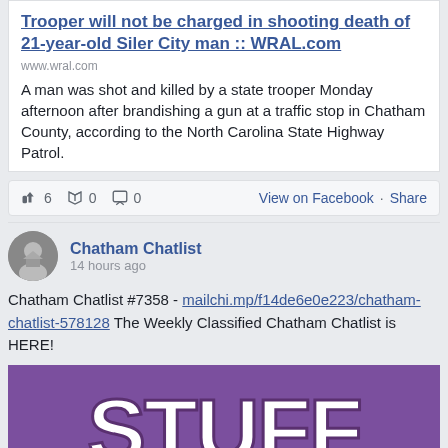Trooper will not be charged in shooting death of 21-year-old Siler City man :: WRAL.com
www.wral.com
A man was shot and killed by a state trooper Monday afternoon after brandishing a gun at a traffic stop in Chatham County, according to the North Carolina State Highway Patrol.
6  0  0  View on Facebook  Share
Chatham Chatlist
14 hours ago
Chatham Chatlist #7358 - mailchi.mp/f14de6e0e223/chatham-chatlist-578128 The Weekly Classified Chatham Chatlist is HERE!
[Figure (other): Purple banner image with large white bold text reading STUFF]